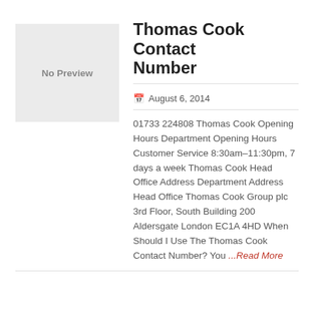[Figure (other): Grey placeholder box with text 'No Preview']
Thomas Cook Contact Number
August 6, 2014
01733 224808 Thomas Cook Opening Hours Department Opening Hours Customer Service 8:30am-11:30pm, 7 days a week Thomas Cook Head Office Address Department Address Head Office Thomas Cook Group plc 3rd Floor, South Building 200 Aldersgate London EC1A 4HD When Should I Use The Thomas Cook Contact Number? You ...Read More